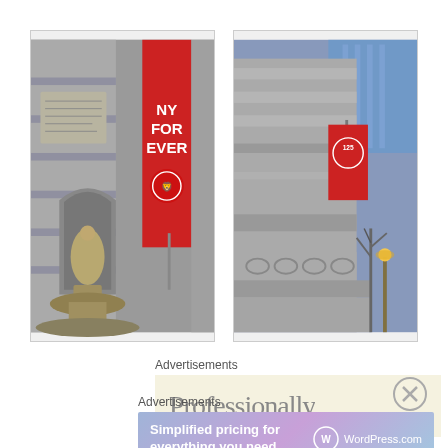[Figure (photo): Photograph of a neoclassical stone building facade with a large red vertical banner reading 'NY FOR EVER' with a red lion logo below the text, and a classical fountain statue in the foreground]
[Figure (photo): Photograph of a neoclassical stone building exterior with a red banner showing '125' anniversary logo, with bare trees and a yellow streetlight in the background against a blue-sky cityscape]
Advertisements
[Figure (screenshot): Partially visible advertisement banner with cream/beige background showing large partially cut-off text beginning with 'Professionally']
[Figure (illustration): Close button (circled X) for closing the advertisement]
Advertisements
[Figure (screenshot): WordPress.com advertisement banner with gradient purple-blue background reading 'Simplified pricing for everything you need.' with WordPress.com logo on the right]